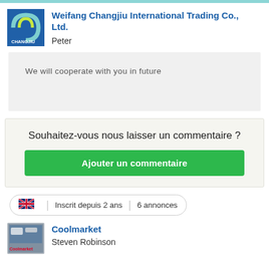Weifang Changjiu International Trading Co., Ltd.
Peter
We will cooperate with you in future
Souhaitez-vous nous laisser un commentaire ?
Ajouter un commentaire
Inscrit depuis 2 ans | 6 annonces
Coolmarket
Steven Robinson